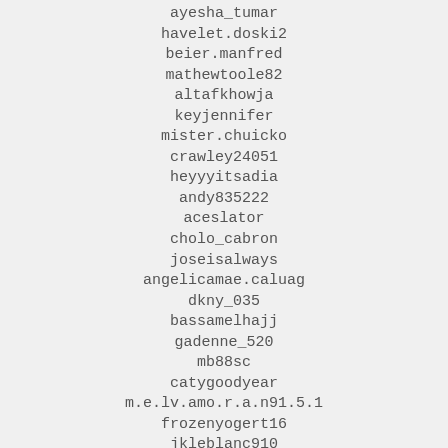ayesha_tumar
havelet.doski2
beier.manfred
mathewtoole82
altafkhowja
keyjennifer
mister.chuicko
crawley24051
heyyyitsadia
andy835222
aceslator
cholo_cabron
joseisalways
angelicamae.caluag
dkny_035
bassamelhajj
gadenne_520
mb88sc
catygoodyear
m.e.lv.amo.r.a.n91.5.1
frozenyogert16
jkleblanc910
lixiaolin9089
kimmiet801